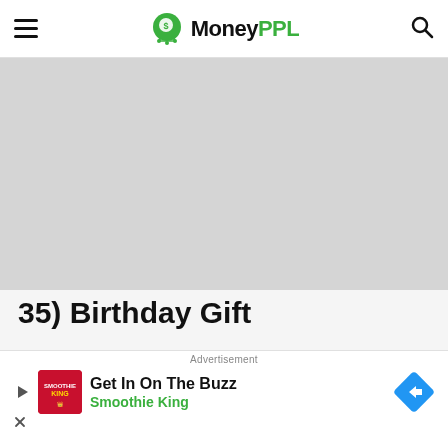MoneyPPL
[Figure (other): Grey placeholder image area, likely an advertisement or banner image]
35) Birthday Gift
When you find out your partner is cheating
[Figure (other): Advertisement banner: Get In On The Buzz - Smoothie King with play button, Smoothie King logo, and arrow navigation icon]